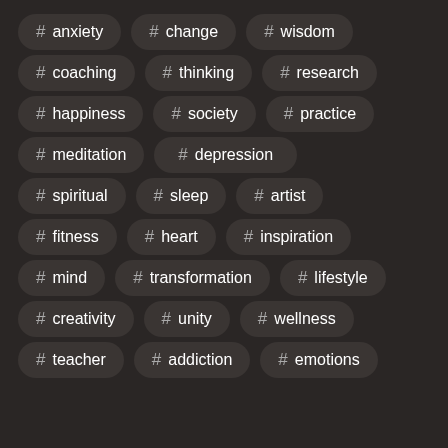# anxiety
# change
# wisdom
# coaching
# thinking
# research
# happiness
# society
# practice
# meditation
# depression
# spiritual
# sleep
# artist
# fitness
# heart
# inspiration
# mind
# transformation
# lifestyle
# creativity
# unity
# wellness
# teacher
# addiction
# emotions